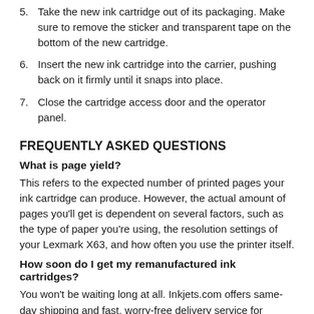5. Take the new ink cartridge out of its packaging. Make sure to remove the sticker and transparent tape on the bottom of the new cartridge.
6. Insert the new ink cartridge into the carrier, pushing back on it firmly until it snaps into place.
7. Close the cartridge access door and the operator panel.
FREQUENTLY ASKED QUESTIONS
What is page yield?
This refers to the expected number of printed pages your ink cartridge can produce. However, the actual amount of pages you'll get is dependent on several factors, such as the type of paper you're using, the resolution settings of your Lexmark X63, and how often you use the printer itself.
How soon do I get my remanufactured ink cartridges?
You won't be waiting long at all. Inkjets.com offers same-day shipping and fast, worry-free delivery service for orders completed before 3pm Pacific Time, with Fridays, weekends and holidays being the exception.